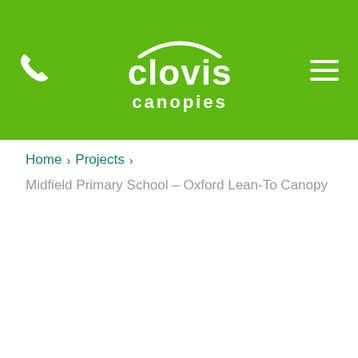[Figure (logo): Clovis Canopies logo with green header bar, white phone icon on the left, white hamburger menu icon on the right, and the Clovis Canopies logo in the center with an arc above the word 'clovis' and 'canopies' below]
Home › Projects ›
Midfield Primary School – Oxford Lean-To Canopy